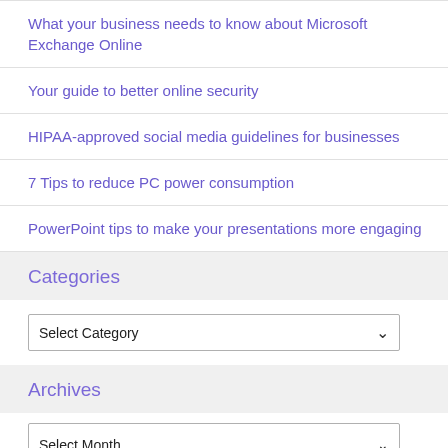What your business needs to know about Microsoft Exchange Online
Your guide to better online security
HIPAA-approved social media guidelines for businesses
7 Tips to reduce PC power consumption
PowerPoint tips to make your presentations more engaging
Categories
Select Category
Archives
Select Month